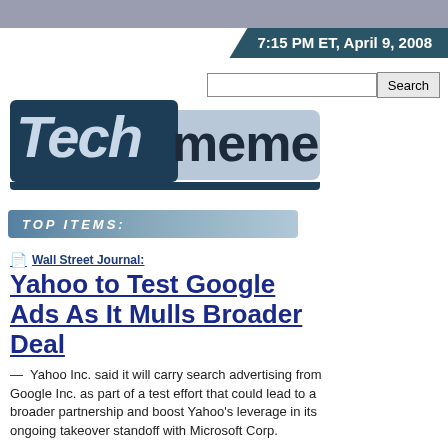7:15 PM ET, April 9, 2008
[Figure (logo): Techmeme logo with dark blue background for 'Tech' and light grey background for 'meme']
TOP ITEMS:
Wall Street Journal:
Yahoo to Test Google Ads As It Mulls Broader Deal
— Yahoo Inc. said it will carry search advertising from Google Inc. as part of a test effort that could lead to a broader partnership and boost Yahoo's leverage in its ongoing takeover standoff with Microsoft Corp.
Discussion: paidContent.org, GigaOM